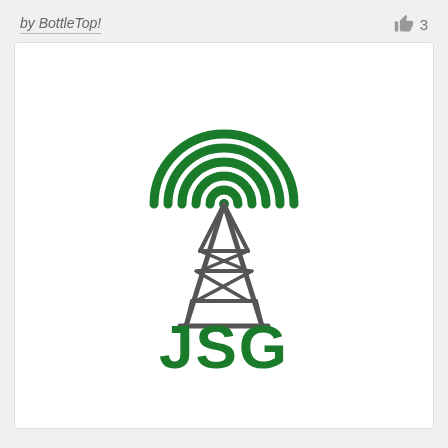by BottleTop!  👍 3
[Figure (logo): JSG Communications LLC logo featuring a green radio/cell tower signal icon above a dark gray lattice tower structure, with 'JSG' in large bold green letters and 'Communications LLC' in bold dark gray below.]